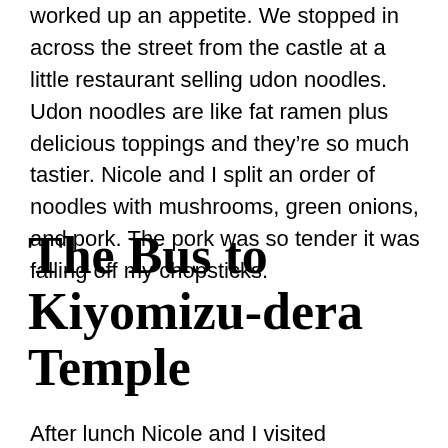worked up an appetite. We stopped in across the street from the castle at a little restaurant selling udon noodles. Udon noodles are like fat ramen plus delicious toppings and they're so much tastier. Nicole and I split an order of noodles with mushrooms, green onions, and pork. The pork was so tender it was falling off my chopsticks.
The Bus to Kiyomizu-dera Temple
After lunch Nicole and I visited Kiyomizu-dera